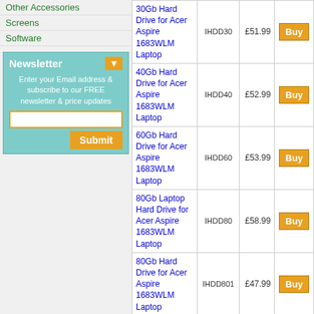Other Accessories
Screens
Software
Newsletter
Enter your Email address & subscribe to our FREE newsletter & price updates
| Product | Code | Price |  |
| --- | --- | --- | --- |
| 30Gb Hard Drive for Acer Aspire 1683WLM Laptop | IHDD30 | £51.99 | Buy |
| 40Gb Hard Drive for Acer Aspire 1683WLM Laptop | IHDD40 | £52.99 | Buy |
| 60Gb Hard Drive for Acer Aspire 1683WLM Laptop | IHDD60 | £53.99 | Buy |
| 80Gb Laptop Hard Drive for Acer Aspire 1683WLM Laptop | IHDD80 | £58.99 | Buy |
| 80Gb Hard Drive for Acer Aspire 1683WLM Laptop | IHDD801 | £47.99 | Buy |
| 100Gb Hard Drive for Acer Aspire 1683WLM Laptop | IHDD100 | £47.99 | Buy |
| 100Gb Hard Drive for Acer Aspire 1683WLM Laptop | IHDD100 |  | Buy |